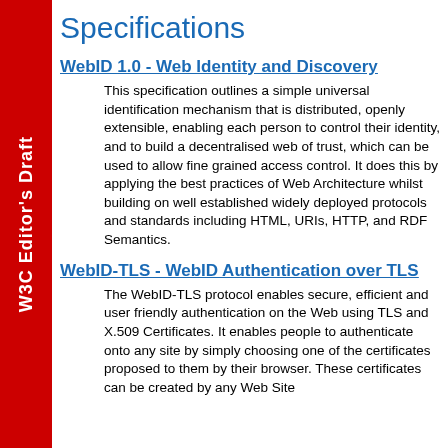W3C Editor's Draft
Specifications
WebID 1.0 - Web Identity and Discovery
This specification outlines a simple universal identification mechanism that is distributed, openly extensible, enabling each person to control their identity, and to build a decentralised web of trust, which can be used to allow fine grained access control. It does this by applying the best practices of Web Architecture whilst building on well established widely deployed protocols and standards including HTML, URIs, HTTP, and RDF Semantics.
WebID-TLS - WebID Authentication over TLS
The WebID-TLS protocol enables secure, efficient and user friendly authentication on the Web using TLS and X.509 Certificates. It enables people to authenticate onto any site by simply choosing one of the certificates proposed to them by their browser. These certificates can be created by any Web Site